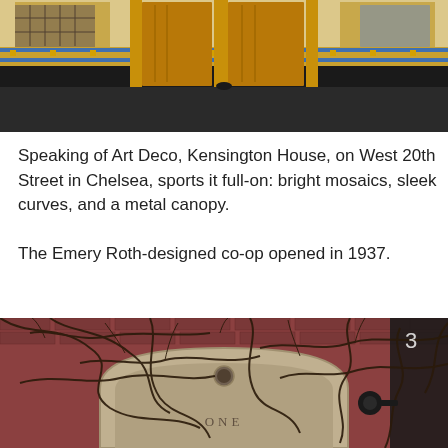[Figure (photo): Art Deco entrance of Kensington House showing golden revolving doors, ornate tile work with colorful mosaic bands, and sleek dark stone cladding at the base]
Speaking of Art Deco, Kensington House, on West 20th Street in Chelsea, sports it full-on: bright mosaics, sleek curves, and a metal canopy.

The Emery Roth-designed co-op opened in 1937.
[Figure (photo): Stone archway entrance of a building labeled 'ONE', covered with bare tangled vines and branches, set against a red brick facade]